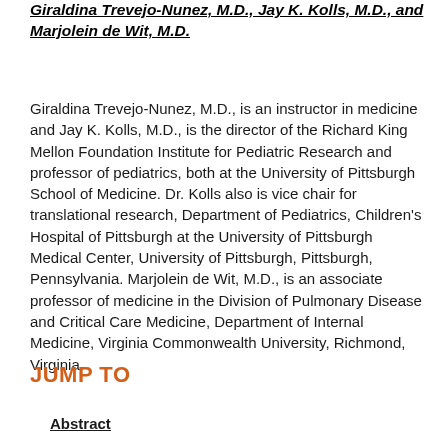Giraldina Trevejo-Nunez, M.D., Jay K. Kolls, M.D., and Marjolein de Wit, M.D.
Giraldina Trevejo-Nunez, M.D., is an instructor in medicine and Jay K. Kolls, M.D., is the director of the Richard King Mellon Foundation Institute for Pediatric Research and professor of pediatrics, both at the University of Pittsburgh School of Medicine. Dr. Kolls also is vice chair for translational research, Department of Pediatrics, Children's Hospital of Pittsburgh at the University of Pittsburgh Medical Center, University of Pittsburgh, Pittsburgh, Pennsylvania. Marjolein de Wit, M.D., is an associate professor of medicine in the Division of Pulmonary Disease and Critical Care Medicine, Department of Internal Medicine, Virginia Commonwealth University, Richmond, Virginia.
JUMP TO
Abstract